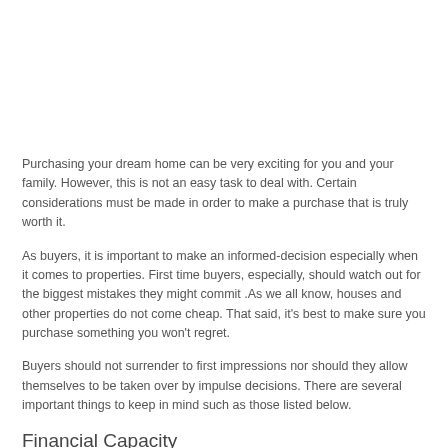Purchasing your dream home can be very exciting for you and your family. However, this is not an easy task to deal with. Certain considerations must be made in order to make a purchase that is truly worth it.
As buyers, it is important to make an informed-decision especially when it comes to properties. First time buyers, especially, should watch out for the biggest mistakes they might commit .As we all know, houses and other properties do not come cheap. That said, it's best to make sure you purchase something you won't regret.
Buyers should not surrender to first impressions nor should they allow themselves to be taken over by impulse decisions. There are several important things to keep in mind such as those listed below.
Financial Capacity